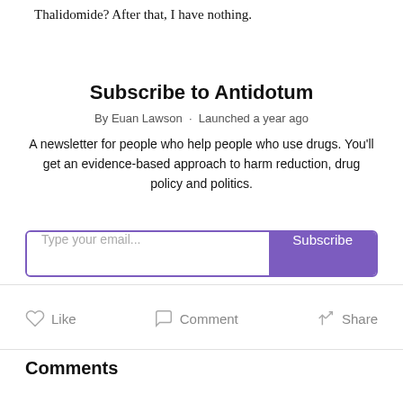Thalidomide? After that, I have nothing.
Subscribe to Antidotum
By Euan Lawson · Launched a year ago
A newsletter for people who help people who use drugs. You'll get an evidence-based approach to harm reduction, drug policy and politics.
[Figure (other): Email subscription form with 'Type your email...' input field and purple 'Subscribe' button]
Like   Comment   Share
Comments